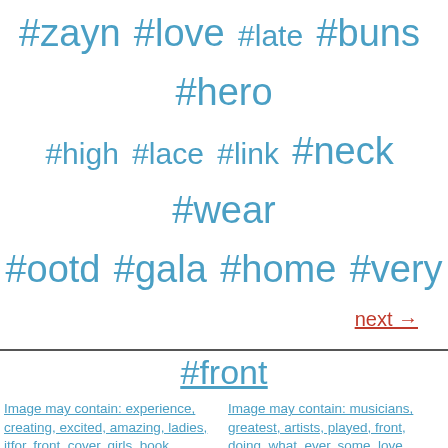#zayn #love #late #buns #hero #high #lace #link #neck #wear #ootd #gala #home #very
next →
#front
[Figure (photo): Image may contain: experience, creating, excited, amazing, ladies, itfor, front, cover, girls, book]
[Figure (photo): Image may contain: musicians, greatest, artists, played, front, doing, what, ever, some, love]
[Figure (photo): Image may contain: rijksmuseum, sennsless, yesterday, beautiful, standing, sanneb, invite, lovely, thanks, front]
[Figure (photo): Image may contain: dobbeltradede, varianter, vigtigste, hilfiger, maritime, ssonens, minimum, frakke, udenom, arten]